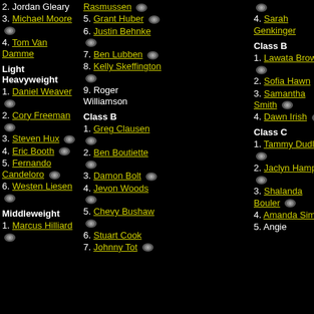2. Jordan Gleary
3. Michael Moore
4. Tom Van Damme
Light Heavyweight
1. Daniel Weaver
2. Cory Freeman
3. Steven Hux
4. Eric Booth
5. Fernando Candeloro
6. Westen Liesen
Middleweight
1. Marcus Hilliard
Rasmussen
5. Grant Huber
6. Justin Behnke
7. Ben Lubben
8. Kelly Skeffington
9. Roger Williamson
Class B
1. Greg Clausen
2. Ben Boutiette
3. Damon Bolt
4. Jevon Woods
5. Chevy Bushaw
6. Stuart Cook
7. Johnny Tot
4. Sarah Genkinger
Class B
1. Lawata Brown
2. Sofia Hawn
3. Samantha Smith
4. Dawn Irish
Class C
1. Tammy Dudley
2. Jaclyn Hampton
3. Shalanda Bouler
4. Amanda Simon
5. Angie
Strong
6. Gin Greco
7. Lisa Evelet
8. Pau Mayfie
9. Lau Lee
10. Jes Lary
11. Mor Bish
12. Jen Rexroth
Class
1. Maxi Chalko
2. Ash Vanze
3. Meg Sande
4. Ph